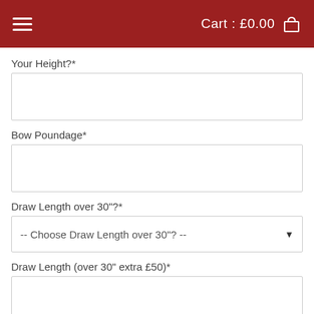Cart : £0.00
Your Height?*
Bow Poundage*
Draw Length over 30"?*
-- Choose Draw Length over 30"? --
Draw Length (over 30" extra £50)*
Left or Right Hand*